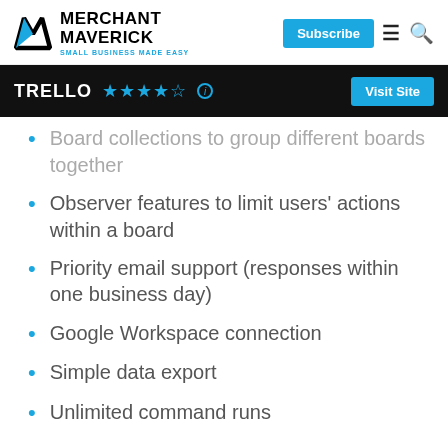MERCHANT MAVERICK — SMALL BUSINESS MADE EASY
TRELLO ★★★★½ — Visit Site
Board collections to group different boards together
Observer features to limit users' actions within a board
Priority email support (responses within one business day)
Google Workspace connection
Simple data export
Unlimited command runs